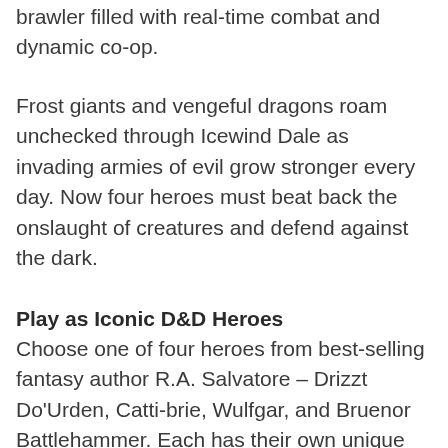brawler filled with real-time combat and dynamic co-op.
Frost giants and vengeful dragons roam unchecked through Icewind Dale as invading armies of evil grow stronger every day. Now four heroes must beat back the onslaught of creatures and defend against the dark.
Play as Iconic D&D Heroes
Choose one of four heroes from best-selling fantasy author R.A. Salvatore – Drizzt Do'Urden, Catti-brie, Wulfgar, and Bruenor Battlehammer. Each has their own unique playstyle and customizable abilities. Complete missions and vanquish bosses to unlock new skills and earn powerful gear